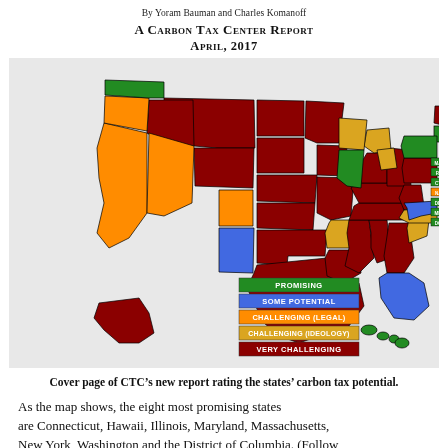By Yoram Bauman and Charles Komanoff
A Carbon Tax Center Report
April, 2017
[Figure (map): US map color-coded by carbon tax potential by state. Legend: Promising (green), Some Potential (blue), Challenging (Legal) (orange), Challenging (Ideology) (yellow), Very Challenging (dark red). Promising states include Washington, Vermont, New York, Connecticut, Maryland, Massachusetts, Hawaii, Illinois. Blue (Some Potential): New Mexico, Virginia, Florida. Orange (Challenging Legal): California, Nevada, Colorado, Oregon. Yellow (Challenging Ideology): Michigan, Wisconsin, North Carolina, South Carolina, Arkansas. Dark red (Very Challenging): most remaining states.]
Cover page of CTC’s new report rating the states’ carbon tax potential.
As the map shows, the eight most promising states are Connecticut, Hawaii, Illinois, Maryland, Massachusetts, New York, Washington and the District of Columbia. (Follow